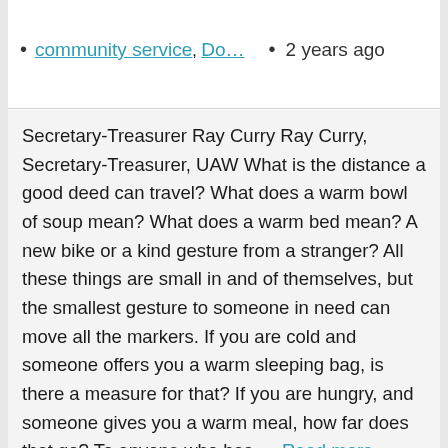community service, Do… • 2 years ago
Secretary-Treasurer Ray Curry Ray Curry, Secretary-Treasurer, UAW What is the distance a good deed can travel? What does a warm bowl of soup mean? What does a warm bed mean? A new bike or a kind gesture from a stranger? All these things are small in and of themselves, but the smallest gesture to someone in need can move all the markers. If you are cold and someone offers you a warm sleeping bag, is there a measure for that? If you are hungry, and someone gives you a warm meal, how far does that go? To anyone who has … Read more